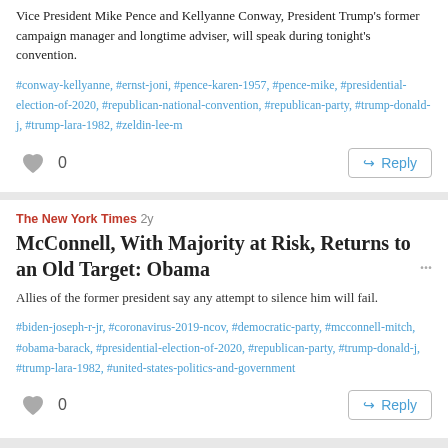Vice President Mike Pence and Kellyanne Conway, President Trump's former campaign manager and longtime adviser, will speak during tonight's convention.
#conway-kellyanne, #ernst-joni, #pence-karen-1957, #pence-mike, #presidential-election-of-2020, #republican-national-convention, #republican-party, #trump-donald-j, #trump-lara-1982, #zeldin-lee-m
0
Reply
The New York Times 2y
McConnell, With Majority at Risk, Returns to an Old Target: Obama
Allies of the former president say any attempt to silence him will fail.
#biden-joseph-r-jr, #coronavirus-2019-ncov, #democratic-party, #mcconnell-mitch, #obama-barack, #presidential-election-of-2020, #republican-party, #trump-donald-j, #trump-lara-1982, #united-states-politics-and-government
0
Reply
Proudly powered by WordPress | Theme: P2 by WordPress.com.